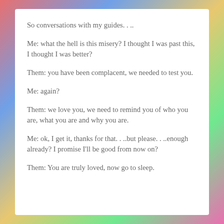So conversations with my guides. . ..
Me: what the hell is this misery? I thought I was past this, I thought I was better?
Them: you have been complacent, we needed to test you.
Me: again?
Them: we love you, we need to remind you of who you are, what you are and why you are.
Me: ok, I get it, thanks for that. . ..but please. . ..enough already? I promise I'll be good from now on?
Them: You are truly loved, now go to sleep.